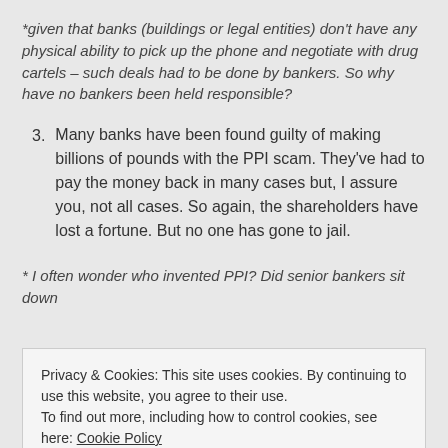*given that banks (buildings or legal entities) don't have any physical ability to pick up the phone and negotiate with drug cartels – such deals had to be done by bankers. So why have no bankers been held responsible?
3. Many banks have been found guilty of making billions of pounds with the PPI scam. They've had to pay the money back in many cases but, I assure you, not all cases. So again, the shareholders have lost a fortune. But no one has gone to jail.
* I often wonder who invented PPI? Did senior bankers sit down
Privacy & Cookies: This site uses cookies. By continuing to use this website, you agree to their use.
To find out more, including how to control cookies, see here: Cookie Policy
to people whose businesses have been totally